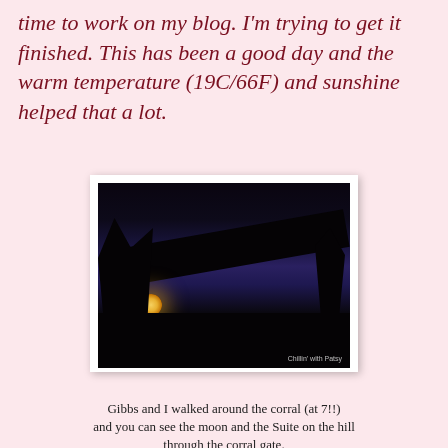time to work on my blog. I'm trying to get it finished. This has been a good day and the warm temperature (19C/66F) and sunshine helped that a lot.
[Figure (photo): Nighttime or dusk photo showing a dark silhouette of a diagonal beam or structure against a deep blue-purple sky, with a glowing moon or light visible in the lower left. Silhouettes of trees on both sides. Watermark reads 'Chillin' with Patsy'.]
Gibbs and I walked around the corral (at 7!!) and you can see the moon and the Suite on the hill through the corral gate.